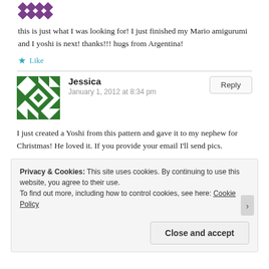[Figure (illustration): Purple pixel/mosaic avatar icon at top left]
this is just what I was looking for! I just finished my Mario amigurumi and I yoshi is next! thanks!!! hugs from Argentina!
★ Like
[Figure (illustration): Green diamond/quilt pattern avatar for Jessica]
Jessica
January 1, 2012 at 8:34 pm
Reply
I just created a Yoshi from this pattern and gave it to my nephew for Christmas! He loved it. If you provide your email I'll send pics.
Privacy & Cookies: This site uses cookies. By continuing to use this website, you agree to their use.
To find out more, including how to control cookies, see here: Cookie Policy
Close and accept